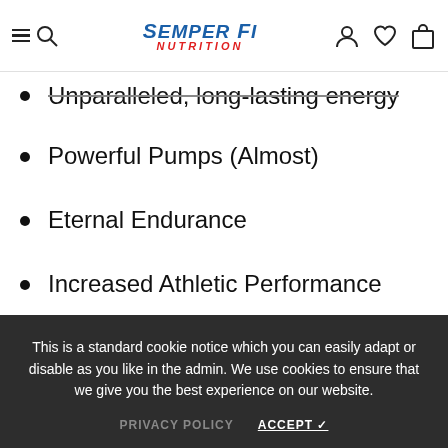Semper Fi Nutrition
Unparalleled, long-lasting energy
Powerful Pumps (Almost)
Eternal Endurance
Increased Athletic Performance
Mood, motivation, and focus
This is a standard cookie notice which you can easily adapt or disable as you like in the admin. We use cookies to ensure that we give you the best experience on our website.
PRIVACY POLICY   ACCEPT ✓